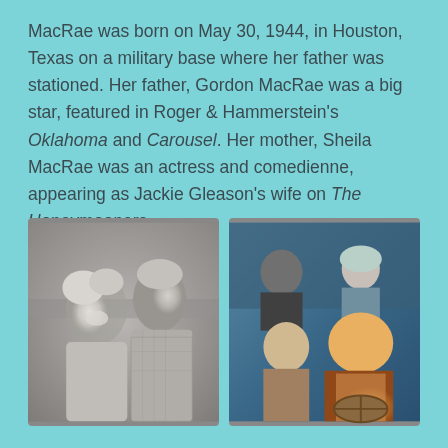MacRae was born on May 30, 1944, in Houston, Texas on a military base where her father was stationed. Her father, Gordon MacRae was a big star, featured in Roger & Hammerstein's Oklahoma and Carousel. Her mother, Sheila MacRae was an actress and comedienne, appearing as Jackie Gleason's wife on The Honeymooners.
[Figure (photo): Black and white photo of a smiling woman with curly blonde hair and a man in a plaid shirt, posed together]
[Figure (photo): Color photo of four people, including a heavy-set man in an orange jacket at the front appearing to drive, with three others behind him]